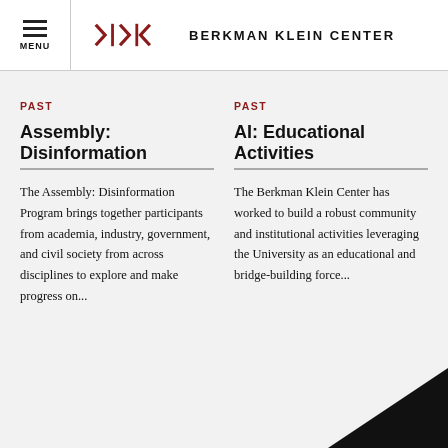MENU | BERKMAN KLEIN CENTER
PAST
Assembly: Disinformation
The Assembly: Disinformation Program brings together participants from academia, industry, government, and civil society from across disciplines to explore and make progress on...
PAST
AI: Educational Activities
The Berkman Klein Center has worked to build a robust community and institutional activities leveraging the University as an educational and bridge-building force...